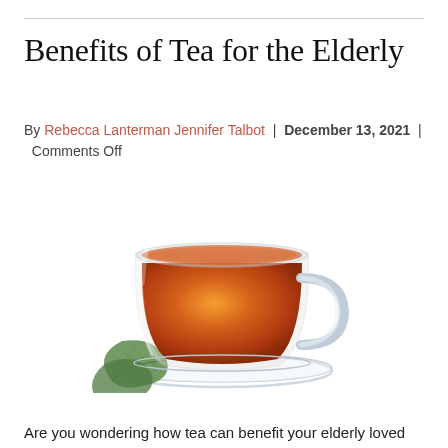Benefits of Tea for the Elderly
By Rebecca Lanterman Jennifer Talbot | December 13, 2021 | Comments Off
[Figure (photo): A clear glass teacup filled with amber tea on a glass saucer, with a green tea leaf beside it, on a white background.]
Are you wondering how tea can benefit your elderly loved